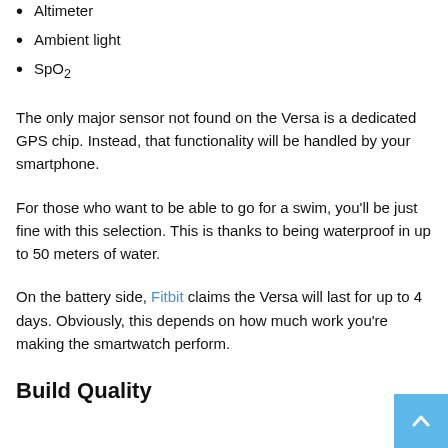Altimeter
Ambient light
SpO2
The only major sensor not found on the Versa is a dedicated GPS chip. Instead, that functionality will be handled by your smartphone.
For those who want to be able to go for a swim, you'll be just fine with this selection. This is thanks to being waterproof in up to 50 meters of water.
On the battery side, Fitbit claims the Versa will last for up to 4 days. Obviously, this depends on how much work you're making the smartwatch perform.
Build Quality